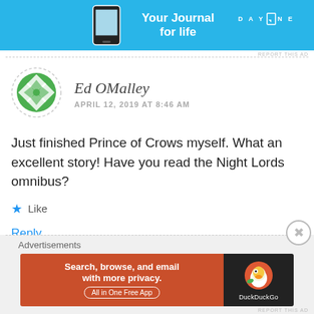[Figure (screenshot): DayOne app advertisement banner — blue background with phone image, text 'Your Journal for life', DayOne logo]
REPORT THIS AD
Ed OMalley
APRIL 12, 2019 AT 8:46 AM
Just finished Prince of Crows myself. What an excellent story! Have you read the Night Lords omnibus?
Like
Reply
Advertisements
[Figure (screenshot): DuckDuckGo advertisement — orange/red background with text 'Search, browse, and email with more privacy. All in One Free App', DuckDuckGo logo on black background]